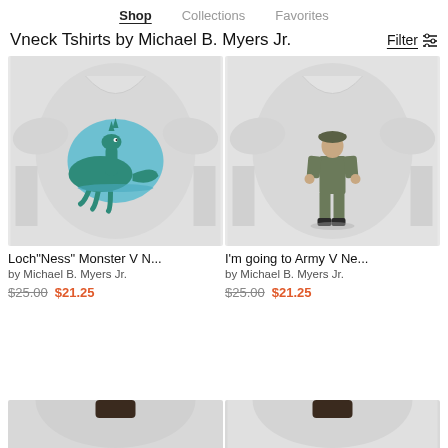Shop   Collections   Favorites
Vneck Tshirts by Michael B. Myers Jr.
[Figure (photo): Woman wearing a grey V-neck t-shirt with Loch Ness Monster illustration]
Loch"Ness" Monster V N...
by Michael B. Myers Jr.
$25.00  $21.25
[Figure (photo): Woman wearing a grey V-neck t-shirt with army soldier illustration]
I'm going to Army V Ne...
by Michael B. Myers Jr.
$25.00  $21.25
[Figure (photo): Bottom partial thumbnail of a t-shirt product - left]
[Figure (photo): Bottom partial thumbnail of a t-shirt product - right]